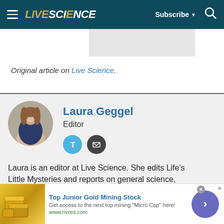LIVESCIENCE — Subscribe — Search
Original article on Live Science.
Laura Geggel
Editor
Laura is an editor at Live Science. She edits Life's Little Mysteries and reports on general science,
Top Junior Gold Mining Stock
Get access to the next top mining "Micro Cap" here!
www.rivres.com